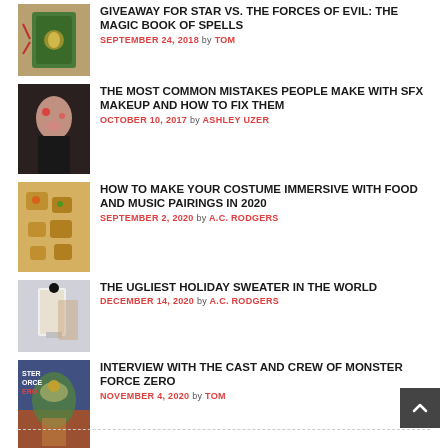[Figure (photo): Thumbnail image of a magic book (Star vs. The Forces of Evil)]
GIVEAWAY FOR STAR VS. THE FORCES OF EVIL: THE MAGIC BOOK OF SPELLS
SEPTEMBER 24, 2018 by TOM
[Figure (photo): Thumbnail of a person with SFX makeup]
THE MOST COMMON MISTAKES PEOPLE MAKE WITH SFX MAKEUP AND HOW TO FIX THEM
OCTOBER 10, 2017 by ASHLEY UZER
[Figure (photo): Thumbnail of holiday food items]
HOW TO MAKE YOUR COSTUME IMMERSIVE WITH FOOD AND MUSIC PAIRINGS IN 2020
SEPTEMBER 2, 2020 by A.C. RODGERS
[Figure (photo): Thumbnail of someone in an ugly holiday sweater costume]
THE UGLIEST HOLIDAY SWEATER IN THE WORLD
DECEMBER 14, 2020 by A.C. RODGERS
[Figure (photo): Thumbnail of Monster Force Zero movie poster with dinosaur]
INTERVIEW WITH THE CAST AND CREW OF MONSTER FORCE ZERO
NOVEMBER 4, 2020 by TOM